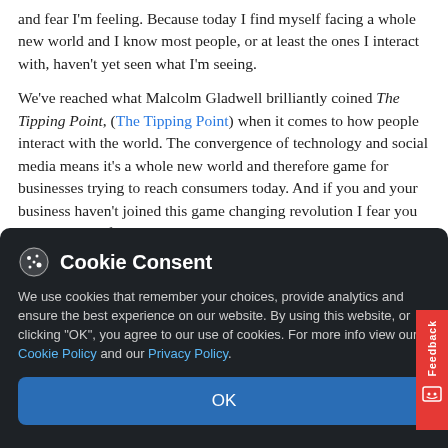and fear I'm feeling. Because today I find myself facing a whole new world and I know most people, or at least the ones I interact with, haven't yet seen what I'm seeing.
We've reached what Malcolm Gladwell brilliantly coined The Tipping Point, (The Tipping Point) when it comes to how people interact with the world. The convergence of technology and social media means it's a whole new world and therefore game for businesses trying to reach consumers today. And if you and your business haven't joined this game changing revolution I fear you both will be left standing on the dock. Let me explain what I'm seeing.
Content Marketing is the new way businesses are reaching their audiences and social media is the tool that's dispensing what marketers create. If that last sentence has your eyes spinning le
[Figure (screenshot): Cookie Consent modal overlay with dark background. Title: 'Cookie Consent' with cookie icon. Text: 'We use cookies that remember your choices, provide analytics and ensure the best experience on our website. By using this website, or clicking "OK", you agree to our use of cookies. For more info view our Cookie Policy and our Privacy Policy.' Blue OK button at bottom.]